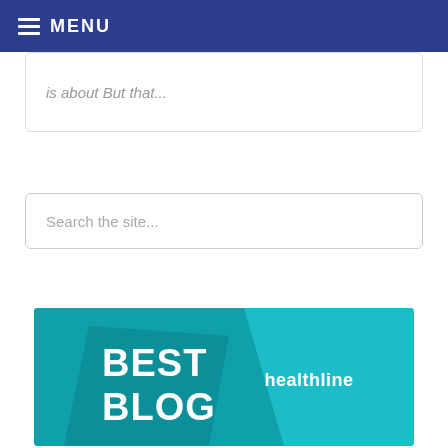MENU
is about But that...
Search the site...
[Figure (logo): Healthline Best Blog award banner — teal background with 'BEST BLOG' text in white and 'healthline' brand name in white on the right side]